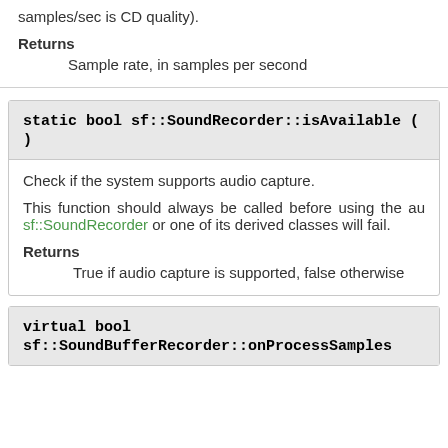samples/sec is CD quality).
Returns
Sample rate, in samples per second
static bool sf::SoundRecorder::isAvailable ( )
Check if the system supports audio capture.
This function should always be called before using the audio recording features. If it returns false, then any attempt to use sf::SoundRecorder or one of its derived classes will fail.
Returns
True if audio capture is supported, false otherwise
virtual bool sf::SoundBufferRecorder::onProcessSamples